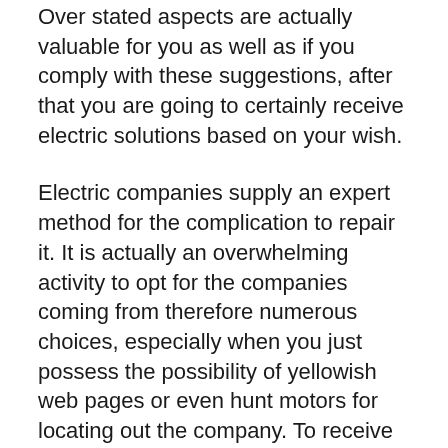Over stated aspects are actually valuable for you as well as if you comply with these suggestions, after that you are going to certainly receive electric solutions based on your wish.
Electric companies supply an expert method for the complication to repair it. It is actually an overwhelming activity to opt for the companies coming from therefore numerous choices, especially when you just possess the possibility of yellowish web pages or even hunt motors for locating out the company. To receive the greatest company, you must recognize some vital variables that may guarantee you to choose a great electric solution.